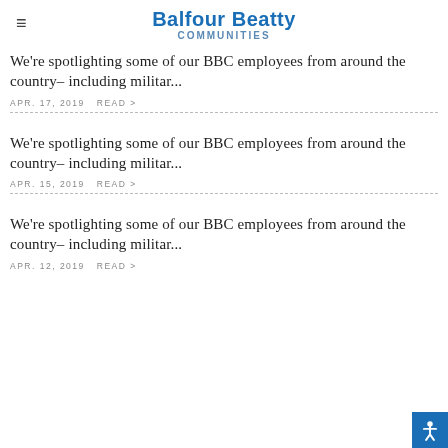Balfour Beatty Communities
We're spotlighting some of our BBC employees from around the country– including militar...
APR. 17, 2019   READ >
We're spotlighting some of our BBC employees from around the country– including militar...
APR. 15, 2019   READ >
We're spotlighting some of our BBC employees from around the country– including militar...
APR. 12, 2019   READ >